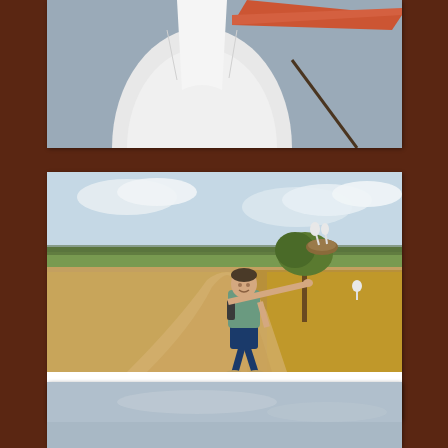[Figure (photo): Close-up photo of a white stork or heron from below, beak pointing upper right, grey sky background. Only the lower portion of the photo is visible (card is cropped at top).]
[Figure (photo): Photo of a man (Shaun) standing on a dirt road in an open landscape, extending his arm toward a tree with storks nesting in it. Green fields visible in distance.]
Shaun of the Storks
[Figure (photo): Partial view of a photo showing a pale blue-grey sky, the top portion of the image. Card is cut off at bottom of page.]